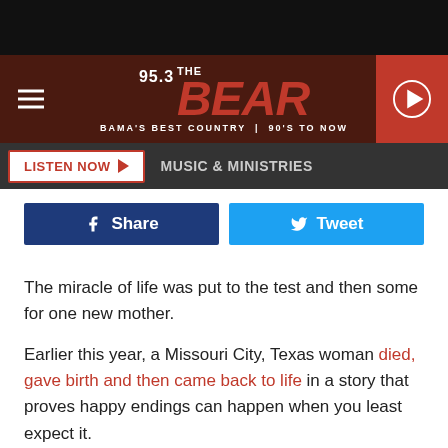[Figure (logo): 95.3 The Bear radio station logo on dark wood background with hamburger menu and play button]
LISTEN NOW ▶  MUSIC & MINISTRIES
[Figure (screenshot): Facebook Share button and Twitter Tweet button]
The miracle of life was put to the test and then some for one new mother.
Earlier this year, a Missouri City, Texas woman died, gave birth and then came back to life in a story that proves happy endings can happen when you least expect it.
High school teacher Erica Nigrelli was 36 weeks pregnant when she...